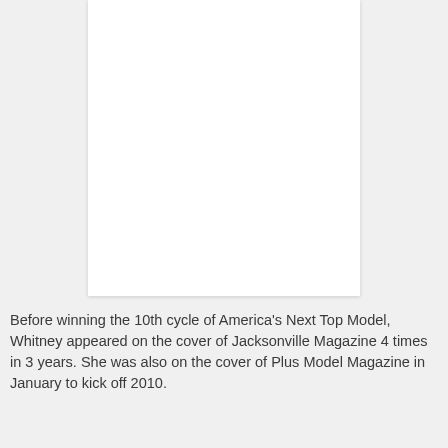[Figure (photo): A blank white rectangular image placeholder, portrait orientation, with a light shadow border.]
Before winning the 10th cycle of America's Next Top Model, Whitney appeared on the cover of Jacksonville Magazine 4 times in 3 years. She was also on the cover of Plus Model Magazine in January to kick off 2010.